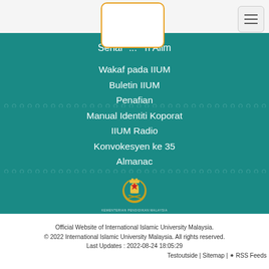[Figure (logo): White rounded rectangle logo box with orange border (IIUM logo placeholder)]
[Figure (other): Hamburger menu icon button]
Senarai ... an Alim
Wakaf pada IIUM
Buletin IIUM
Penafian
Manual Identiti Koporat
IIUM Radio
Konvokesyen ke 35
Almanac
[Figure (logo): Malaysian coat of arms / government crest emblem with text below]
Official Website of International Islamic University Malaysia.
© 2022 International Islamic University Malaysia. All rights reserved.
Last Updates : 2022-08-24 18:05:29
Testoutside | Sitemap | RSS Feeds